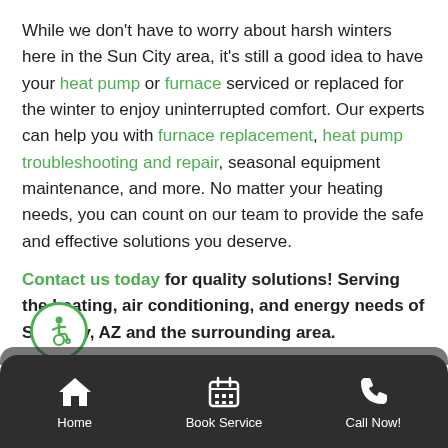While we don't have to worry about harsh winters here in the Sun City area, it's still a good idea to have your heat pump or furnace serviced or replaced for the winter to enjoy uninterrupted comfort. Our experts can help you with furnace replacement, heat pump troubleshooting and repair, seasonal equipment maintenance, and more. No matter your heating needs, you can count on our team to provide the safe and effective solutions you deserve.
Contact us today for quality solutions! Serving the heating, air conditioning, and energy needs of Sun City, AZ and the surrounding area.
[Figure (other): Accessibility icon: wheelchair user symbol in a green circle]
Home | Book Service | Call Now!